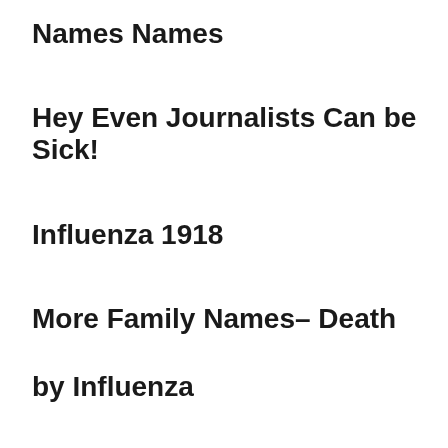Names Names
Hey Even Journalists Can be Sick!
Influenza 1918
More Family Names– Death
by Influenza
Death by Influenza 1918- Any